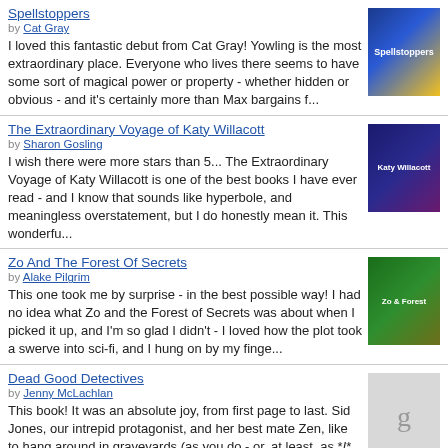Spellstoppers by Cat Gray
I loved this fantastic debut from Cat Gray! Yowling is the most extraordinary place. Everyone who lives there seems to have some sort of magical power or property - whether hidden or obvious - and it's certainly more than Max bargains f...
The Extraordinary Voyage of Katy Willacott by Sharon Gosling
I wish there were more stars than 5... The Extraordinary Voyage of Katy Willacott is one of the best books I have ever read - and I know that sounds like hyperbole, and meaningless overstatement, but I do honestly mean it. This wonderfu...
Zo And The Forest Of Secrets by Alake Pilgrim
This one took me by surprise - in the best possible way! I had no idea what Zo and the Forest of Secrets was about when I picked it up, and I'm so glad I didn't - I loved how the plot took a swerve into sci-fi, and I hung on by my finge...
Dead Good Detectives by Jenny McLachlan
This book! It was an absolute joy, from first page to last. Sid Jones, our intrepid protagonist, and her best mate Zen, like to hang around in graveyards (as you do - or, at least, as *I* do) looking for ghosts. The action begins when Si...
Our Sister, Again